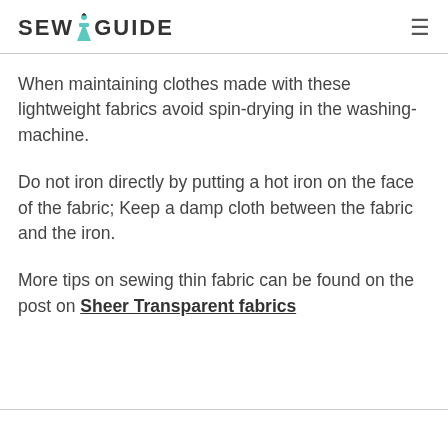SEWGUIDE
When maintaining clothes made with these lightweight fabrics avoid spin-drying in the washing-machine.
Do not iron directly by putting a hot iron on the face of the fabric; Keep a damp cloth between the fabric and the iron.
More tips on sewing thin fabric can be found on the post on Sheer Transparent fabrics